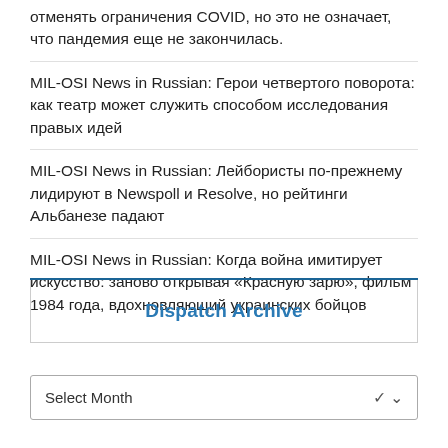отменять ограничения COVID, но это не означает, что пандемия еще не закончилась.
MIL-OSI News in Russian: Герои четвертого поворота: как театр может служить способом исследования правых идей
MIL-OSI News in Russian: Лейбористы по-прежнему лидируют в Newspoll и Resolve, но рейтинги Альбанезе падают
MIL-OSI News in Russian: Когда война имитирует искусство: заново открывая «Красную зарю», фильм 1984 года, вдохновляющий украинских бойцов
Dispatch Archive
Select Month